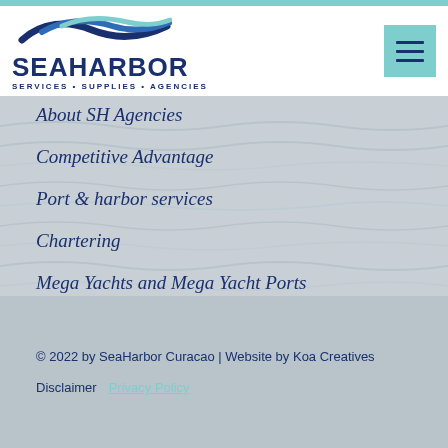[Figure (logo): SeaHarbor logo with wave graphic and text SEAHARBOR SERVICES · SUPPLIES · AGENCIES]
About SH Agencies
Competitive Advantage
Port & harbor services
Chartering
Mega Yachts and Mega Yacht Ports
© 2022 by SeaHarbor Curacao | Website by Koa Creatives
Disclaimer   Privacy Policy